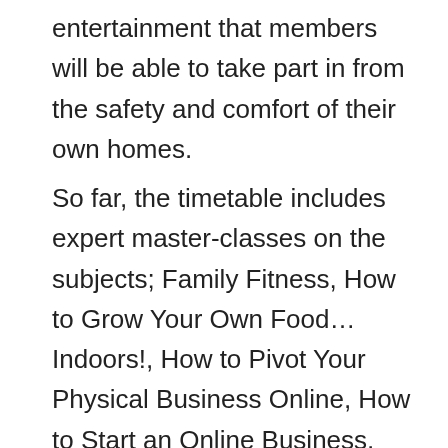entertainment that members will be able to take part in from the safety and comfort of their own homes.
So far, the timetable includes expert master-classes on the subjects; Family Fitness, How to Grow Your Own Food… Indoors!, How to Pivot Your Physical Business Online, How to Start an Online Business, Acting for Film, Independent Film Broadcast and even How to Write a Book! The group will also feature advice for the more personal trials we are all facing during this unusual time of